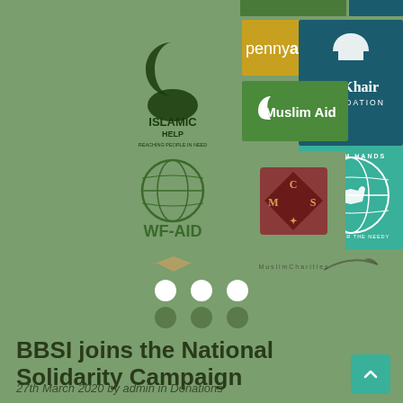[Figure (infographic): A grid of charity organization logos on a green background: Islamic Help, Penny Appeal, Al-Khair Foundation, Muslim Aid, WF-AID, Muslim Hands, MCS logo, and other smaller logos at the bottom. Also shows a BBSI dots logo.]
BBSI joins the National Solidarity Campaign
27th March 2020 by admin in Donations
The Crisis
Covid-19 has sadly taken the lives of thousands globally and has virtually brought